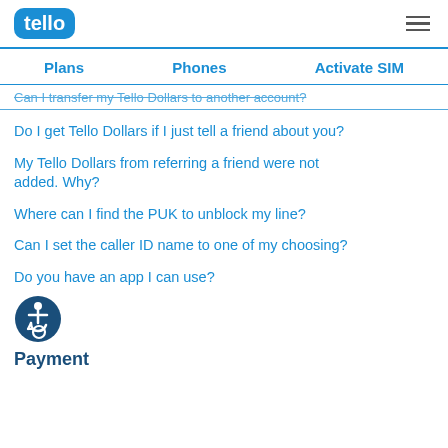tello
Plans   Phones   Activate SIM
Can I transfer my Tello Dollars to another account?
Do I get Tello Dollars if I just tell a friend about you?
My Tello Dollars from referring a friend were not added. Why?
Where can I find the PUK to unblock my line?
Can I set the caller ID name to one of my choosing?
Do you have an app I can use?
[Figure (illustration): Accessibility icon: person in wheelchair in a circle]
Payment